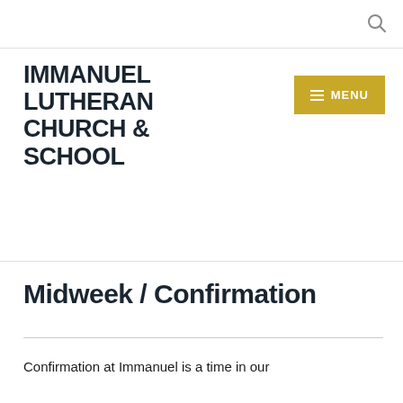IMMANUEL LUTHERAN CHURCH & SCHOOL
Midweek / Confirmation
Confirmation at Immanuel is a time in our students' lives when they have the opportunity to